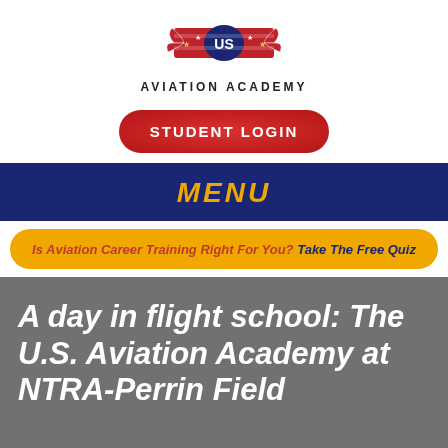[Figure (logo): US Aviation Academy logo with eagle wings and stars, red white and blue]
AVIATION ACADEMY
STUDENT LOGIN
MENU
Is Aviation Career Training Right For You? Take The Free Quiz
A day in flight school: The U.S. Aviation Academy at NTRA-Perrin Field
Posted on May 11, 2014 | by Scott Sykes
A Day in Flight School: The U.S. Aviation